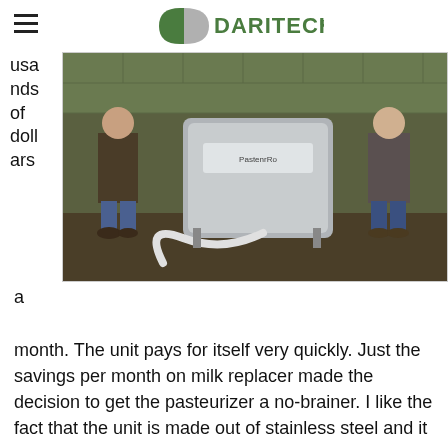DARITECH INC
[Figure (photo): Two men standing on either side of a stainless steel pasteurizer unit with a hose, in a farm building with green block walls.]
usa nds of doll ars a month. The unit pays for itself very quickly. Just the savings per month on milk replacer made the decision to get the pasteurizer a no-brainer. I like the fact that the unit is made out of stainless steel and it has an automatic washing feature, which is a huge benefit because it saves time and labor.
Mike Nissly